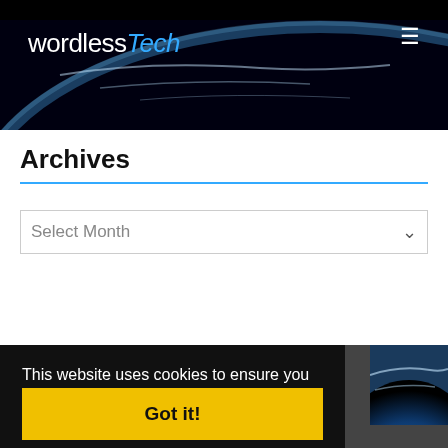wordlessTech
Archives
Select Month
This website uses cookies to ensure you get the best experience on our website.
Learn more
Got it!